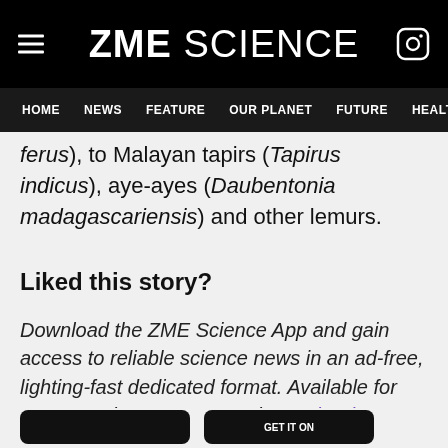ZME SCIENCE | HOME | NEWS | FEATURE | OUR PLANET | FUTURE | HEALTH
ferus), to Malayan tapirs (Tapirus indicus), aye-ayes (Daubentonia madagascariensis) and other lemurs.
Liked this story?
Download the ZME Science App and gain access to reliable science news in an ad-free, lighting-fast dedicated format. Available for FREE on the AppStore and Google Play